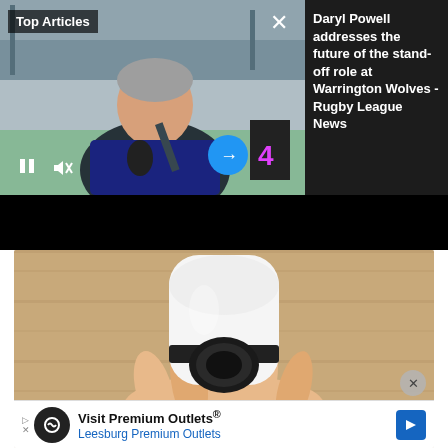[Figure (screenshot): Video player showing a man in a dark jacket speaking into a microphone at a rugby stadium. Overlaid with 'Top Articles' label, pause/mute icons, blue arrow button, close X. Dark panel to the right shows article title text.]
Daryl Powell addresses the future of the stand-off role at Warrington Wolves - Rugby League News
[Figure (photo): A hand holding a white smart camera device (cylindrical, with a black band and lens opening), photographed against a wooden background. An X dismiss button is visible. Below is an advertisement banner: 'Visit Premium Outlets® Leesburg Premium Outlets']
Visit Premium Outlets®
Leesburg Premium Outlets